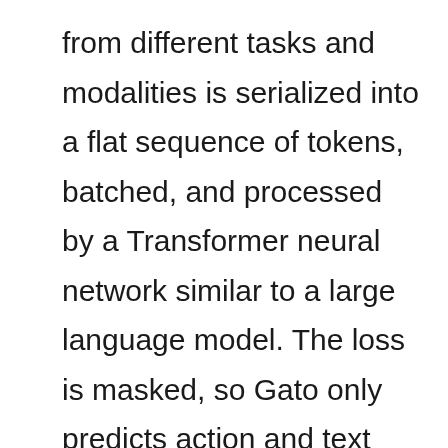from different tasks and modalities is serialized into a flat sequence of tokens, batched, and processed by a Transformer neural network similar to a large language model. The loss is masked, so Gato only predicts action and text targets,” describe Scott Reed and colleagues regarding the program’s training task.
In other words, Gato treats tokens no